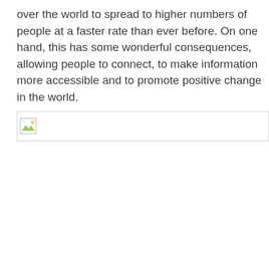over the world to spread to higher numbers of people at a faster rate than ever before. On one hand, this has some wonderful consequences, allowing people to connect, to make information more accessible and to promote positive change in the world.
[Figure (other): Broken image placeholder icon — a small image-not-found icon with a landscape thumbnail symbol inside a bordered rectangle.]